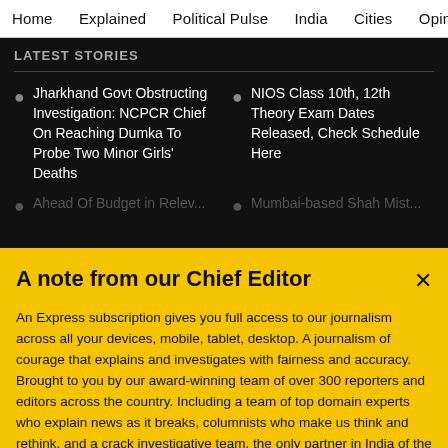Home  Explained  Political Pulse  India  Cities  Opinion  Entertainment
LATEST STORIES
Jharkhand Govt Obstructing Investigation: NCPCR Chief On Reaching Dumka To Probe Two Minor Girls' Deaths
NIOS Class 10th, 12th Theory Exam Dates Released, Check Schedule Here
A note from our Chief Editor
An Express subscription gives you full access to our journalism across all your devices, mobile, tablet, desktop. A journalism of courage that explains and investigates with fairness and accuracy. Brought to you by our award-winning team of over 300 reporters and editors across the country. Including a team of top domain experts who explain news as it breaks, columnists who make us think and rethink, and a crack investigative team, the only partner in India of the International Consortium of Investigative Journalists. Journalism
Buy Now →